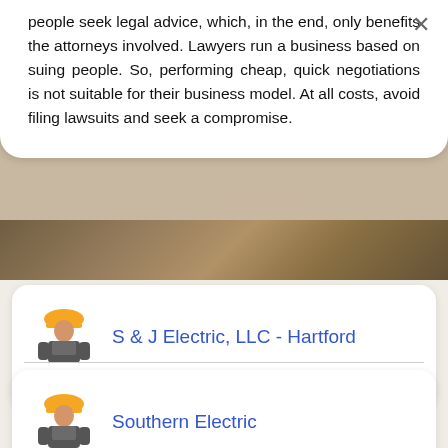people seek legal advice, which, in the end, only benefits the attorneys involved. Lawyers run a business based on suing people. So, performing cheap, quick negotiations is not suitable for their business model. At all costs, avoid filing lawsuits and seek a compromise.
[Figure (illustration): Background image strip with tools/equipment]
S & J Electric, LLC - Hartford
Hartford, CT
Southern Electric
Hartford, CT